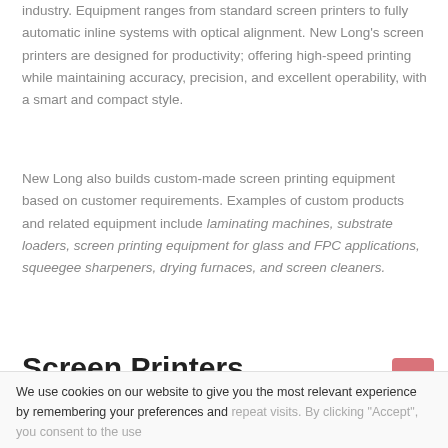industry. Equipment ranges from standard screen printers to fully automatic inline systems with optical alignment. New Long's screen printers are designed for productivity; offering high-speed printing while maintaining accuracy, precision, and excellent operability, with a smart and compact style.
New Long also builds custom-made screen printing equipment based on customer requirements. Examples of custom products and related equipment include laminating machines, substrate loaders, screen printing equipment for glass and FPC applications, squeegee sharpeners, drying furnaces, and screen cleaners.
Screen Printers
We use cookies on our website to give you the most relevant experience by remembering your preferences and repeat visits. By clicking "Accept", you consent to the use